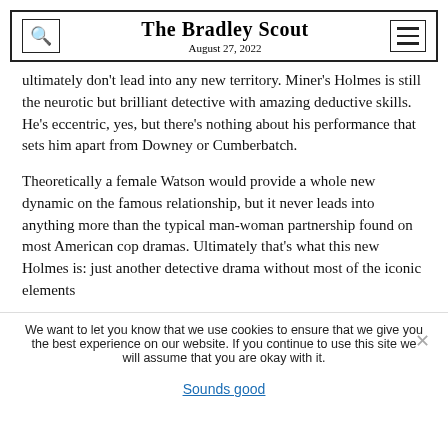The Bradley Scout
August 27, 2022
ultimately don't lead into any new territory. Miner's Holmes is still the neurotic but brilliant detective with amazing deductive skills. He's eccentric, yes, but there's nothing about his performance that sets him apart from Downey or Cumberbatch.
Theoretically a female Watson would provide a whole new dynamic on the famous relationship, but it never leads into anything more than the typical man-woman partnership found on most American cop dramas. Ultimately that's what this new Holmes is: just another detective drama without most of the iconic elements
We want to let you know that we use cookies to ensure that we give you the best experience on our website. If you continue to use this site we will assume that you are okay with it.
Sounds good